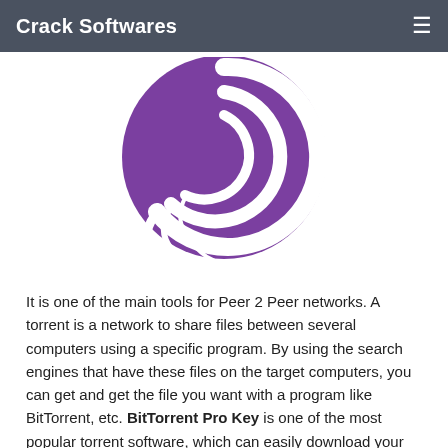Crack Softwares
[Figure (logo): BitTorrent logo: purple circle with white curved arc/swirl forming a stylized 'C' shape inside]
It is one of the main tools for Peer 2 Peer networks. A torrent is a network to share files between several computers using a specific program. By using the search engines that have these files on the target computers, you can get and get the file you want with a program like BitTorrent, etc. BitTorrent Pro Key is one of the most popular torrent software, which can easily download your torrent files. BitTorrent Pro compared to similar programs.